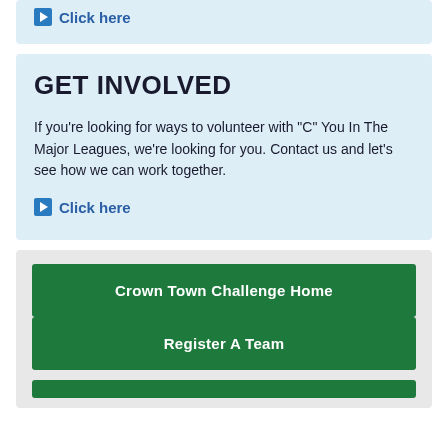Click here
GET INVOLVED
If you’re looking for ways to volunteer with “C” You In The Major Leagues, we’re looking for you. Contact us and let’s see how we can work together.
Click here
Crown Town Challenge Home
Register A Team